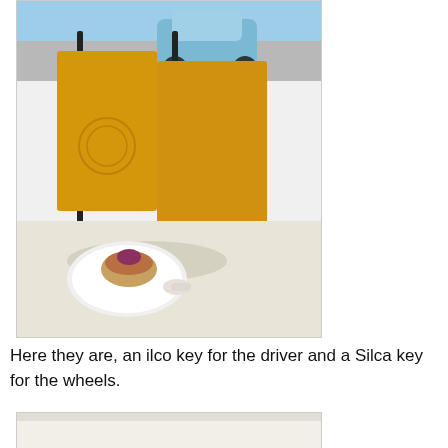[Figure (photo): Outdoor cafe scene with yellow sandwich board signs, a white plate with a pastry/muffin on a table in the foreground, and a blue car parked in a lot in the background. The yellow signs have a circular logo embossed on them.]
Here they are, an ilco key for the driver and a Silca key for the wheels.
[Figure (photo): Partial view of a second photo, showing a light-colored surface, cropped by the page bottom.]